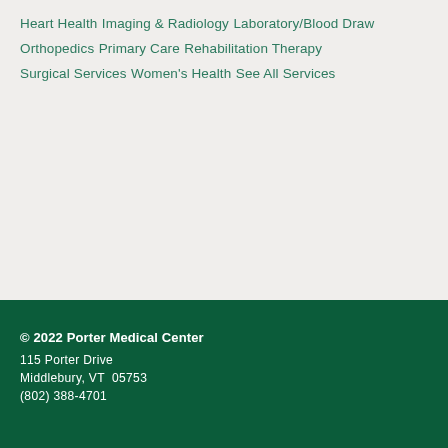Heart Health
Imaging & Radiology
Laboratory/Blood Draw
Orthopedics
Primary Care
Rehabilitation Therapy
Surgical Services
Women's Health
See All Services
© 2022 Porter Medical Center
115 Porter Drive
Middlebury, VT  05753
(802) 388-4701